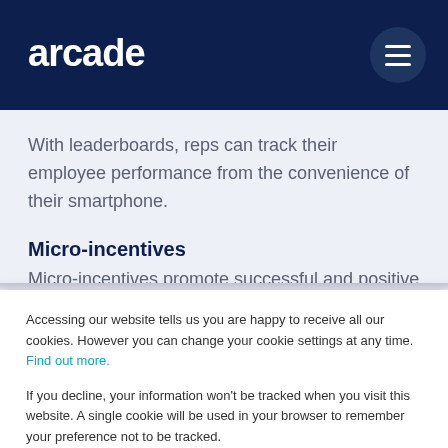arcade
With leaderboards, reps can track their employee performance from the convenience of their smartphone.
Micro-incentives
Micro-incentives promote successful and positive
Accessing our website tells us you are happy to receive all our cookies. However you can change your cookie settings at any time. Find out more.

If you decline, your information won't be tracked when you visit this website. A single cookie will be used in your browser to remember your preference not to be tracked.
OK
Decline